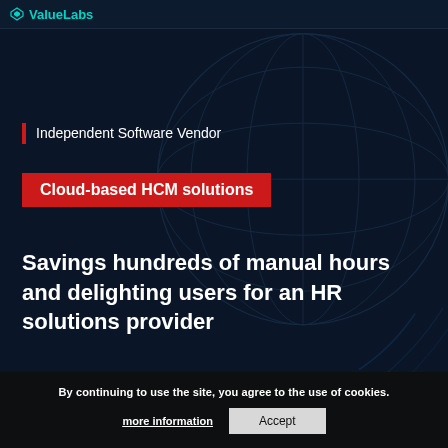ValueLabs
Independent Software Vendor
Cloud-based HCM solutions
Savings hundreds of manual hours and delighting users for an HR solutions provider
By continuing to use the site, you agree to the use of cookies.
more information
Accept